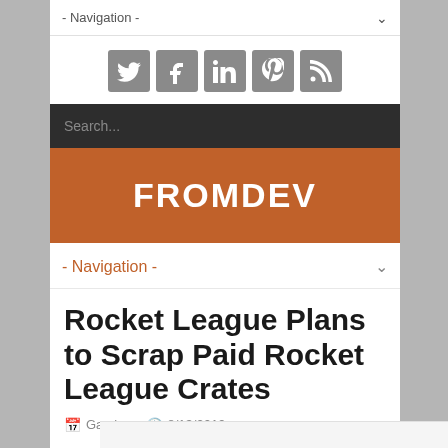- Navigation -
[Figure (other): Social media icon buttons: Twitter, Facebook, LinkedIn, Pinterest, RSS feed — all in grey square tiles]
Search...
FROMDEV
- Navigation -
Rocket League Plans to Scrap Paid Rocket League Crates
Gaming  8/13/2019